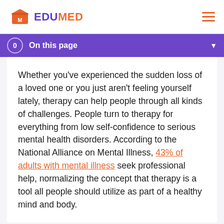EDUMED
0  On this page
Whether you've experienced the sudden loss of a loved one or you just aren't feeling yourself lately, therapy can help people through all kinds of challenges. People turn to therapy for everything from low self-confidence to serious mental health disorders. According to the National Alliance on Mental Illness, 43% of adults with mental illness seek professional help, normalizing the concept that therapy is a tool all people should utilize as part of a healthy mind and body.